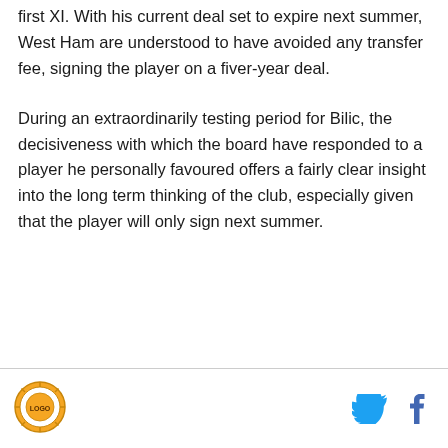first XI. With his current deal set to expire next summer, West Ham are understood to have avoided any transfer fee, signing the player on a fiver-year deal.
During an extraordinarily testing period for Bilic, the decisiveness with which the board have responded to a player he personally favoured offers a fairly clear insight into the long term thinking of the club, especially given that the player will only sign next summer.
[Figure (logo): Circular logo emblem in the footer]